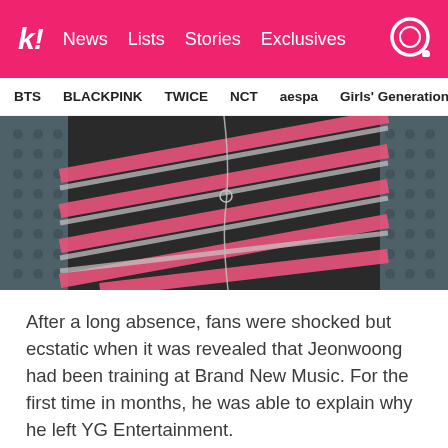k! News  Lists  Stories  Exclusives
BTS  BLACKPINK  TWICE  NCT  aespa  Girls' Generation
[Figure (photo): Close-up photo of a person wearing a dark striped sweater with pink and white diagonal stripes and a silver necklace, in front of a dotted gray background.]
After a long absence, fans were shocked but ecstatic when it was revealed that Jeonwoong had been training at Brand New Music. For the first time in months, he was able to explain why he left YG Entertainment.
During one of the monthly evaluations in YG Entertainment, Yang Hyun-Suk ...